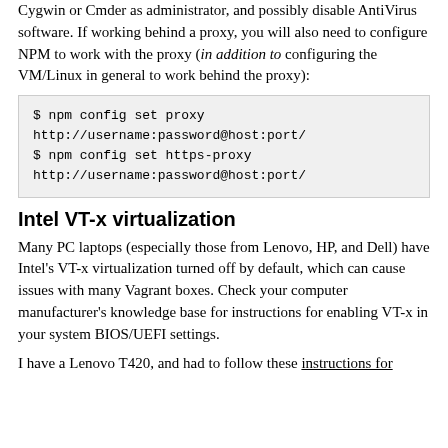Cygwin or Cmder as administrator, and possibly disable AntiVirus software. If working behind a proxy, you will also need to configure NPM to work with the proxy (in addition to configuring the VM/Linux in general to work behind the proxy):
$ npm config set proxy
http://username:password@host:port/
$ npm config set https-proxy
http://username:password@host:port/
Intel VT-x virtualization
Many PC laptops (especially those from Lenovo, HP, and Dell) have Intel's VT-x virtualization turned off by default, which can cause issues with many Vagrant boxes. Check your computer manufacturer's knowledge base for instructions for enabling VT-x in your system BIOS/UEFI settings.
I have a Lenovo T420, and had to follow these instructions for enabling virtualization from the system settings.